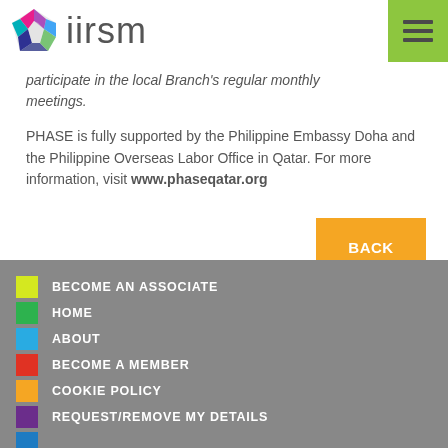iirsm
participate in the local Branch's regular monthly meetings.
PHASE is fully supported by the Philippine Embassy Doha and the Philippine Overseas Labor Office in Qatar. For more information, visit www.phaseqatar.org
BECOME AN ASSOCIATE
HOME
ABOUT
BECOME A MEMBER
COOKIE POLICY
REQUEST/REMOVE MY DETAILS